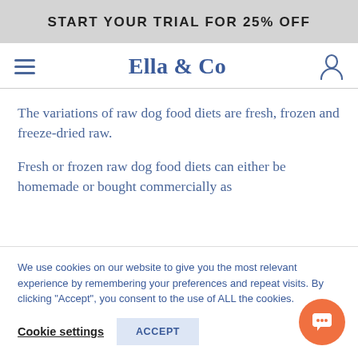START YOUR TRIAL FOR 25% OFF
[Figure (logo): Ella & Co logo with hamburger menu and user icon navigation bar]
The variations of raw dog food diets are fresh, frozen and freeze-dried raw.
Fresh or frozen raw dog food diets can either be homemade or bought commercially as
We use cookies on our website to give you the most relevant experience by remembering your preferences and repeat visits. By clicking "Accept", you consent to the use of ALL the cookies.